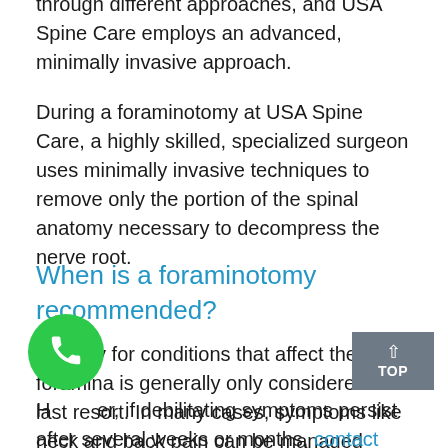through different approaches, and USA Spine Care employs an advanced, minimally invasive approach.
During a foraminotomy at USA Spine Care, a highly skilled, specialized surgeon uses minimally invasive techniques to remove only the portion of the spinal anatomy necessary to decompress the nerve root.
When is a foraminotomy recommended?
Surgery for conditions that affect the foramina is generally only considered as a last resort. In many cases, symptoms like neck and back pain can be managed using conservative, nonsurgical treatment methods such as exercise and stretching.
However, if debilitating symptoms persist after several weeks or months, contact USA Spine Care to